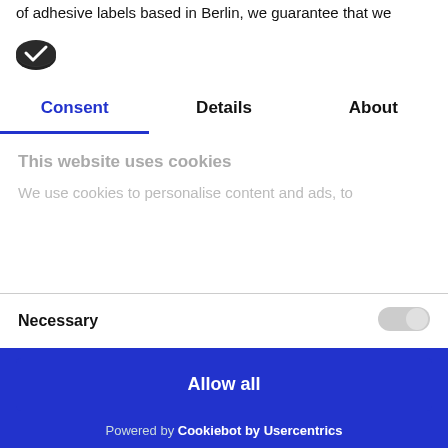of adhesive labels based in Berlin, we guarantee that we
[Figure (logo): Cookiebot logo icon - dark oval badge with checkmark]
Consent | Details | About
This website uses cookies
We use cookies to personalise content and ads, to
Necessary
Allow all
Allow selection
Powered by Cookiebot by Usercentrics